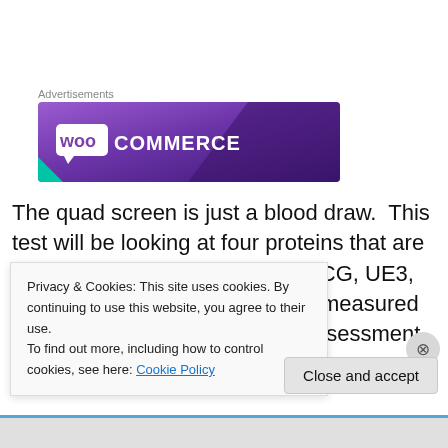Advertisements
[Figure (logo): WooCommerce advertisement banner with purple gradient background and WooCommerce logo in white text]
The quad screen is just a blood draw.  This test will be looking at four proteins that are made by the pregnancy (AFP, hCG, UE3, DIA).  The protein levels will be measured and used to calculate the risk assessment
Privacy & Cookies: This site uses cookies. By continuing to use this website, you agree to their use.
To find out more, including how to control cookies, see here: Cookie Policy
Close and accept